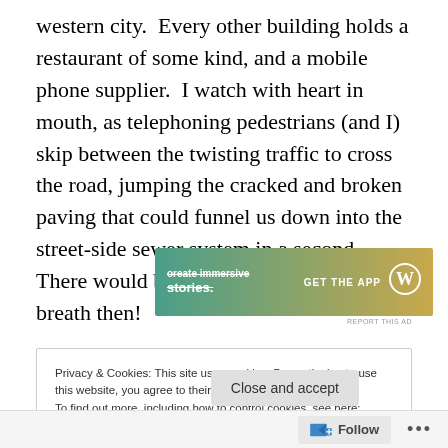western city. Every other building holds a restaurant of some kind, and a mobile phone supplier. I watch with heart in mouth, as telephoning pedestrians (and I) skip between the twisting traffic to cross the road, jumping the cracked and broken paving that could funnel us down into the street-side sewer system in a second. There would be no point in holding your breath then!
[Figure (other): Advertisement banner: 'Create immersive stories. GET THE APP' with WordPress logo, gradient background from teal to gold]
REPORT THIS AD
Privacy & Cookies: This site uses cookies. By continuing to use this website, you agree to their use.
To find out more, including how to control cookies, see here: Cookie Policy
Close and accept
Follow ...